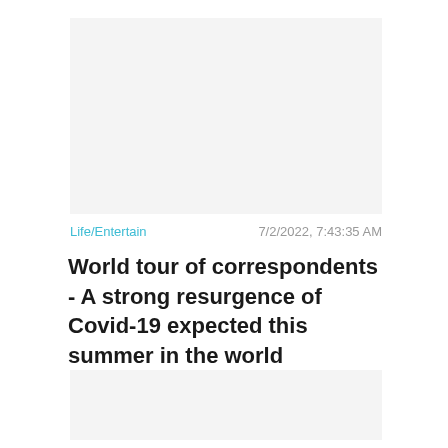[Figure (other): Gray placeholder image area at top of article]
Life/Entertain    7/2/2022, 7:43:35 AM
World tour of correspondents - A strong resurgence of Covid-19 expected this summer in the world
[Figure (other): Gray placeholder image area at bottom with Close X button]